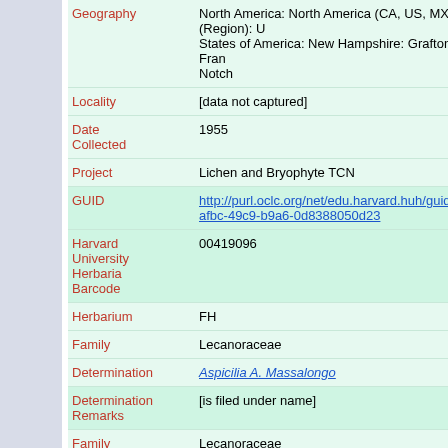| Field | Value |
| --- | --- |
| Geography | North America: North America (CA, US, MX) (Region): United States of America: New Hampshire: Grafton County: Franconia Notch |
| Locality | [data not captured] |
| Date Collected | 1955 |
| Project | Lichen and Bryophyte TCN |
| GUID | http://purl.oclc.org/net/edu.harvard.huh/guid/uuid/470...-afbc-49c9-b9a6-0d8388050d23 |
| Harvard University Herbaria Barcode | 00419096 |
| Herbarium | FH |
| Family | Lecanoraceae |
| Determination | Aspicilia A. Massalongo |
| Determination Remarks | [is filed under name] |
| Family | Lecanoraceae |
| Determination | Aspicilia sp. |
| Determination Remarks | [0] [is Current name] |